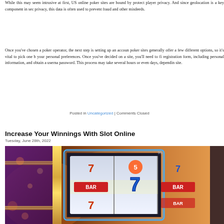While this may seem intrusive at first, US online poker sites are bound by protect player privacy. And since geolocation is a key component in sec privacy, this data is often used to prevent fraud and other misdeeds.
Once you've chosen a poker operator, the next step is setting up an account. poker sites generally offer a few different options, so it's vital to pick one b your personal preferences. Once you've decided on a site, you'll need to fi registration form, including personal information, and obtain a userna password. This process may take several hours or even days, dependin site.
Posted in Uncategorized | Comments Closed
Increase Your Winnings With Slot Online
Tuesday, June 28th, 2022
[Figure (photo): Close-up photo of casino slot machines with glowing neon lights, showing reels with numbers 7 and BAR symbols]